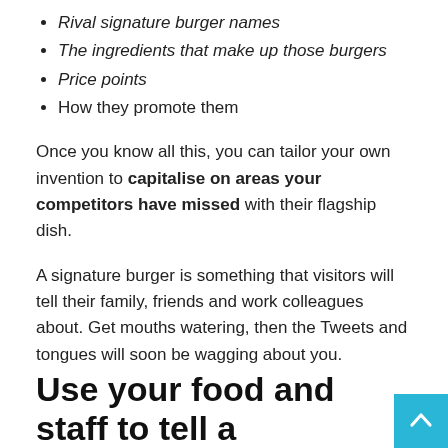Rival signature burger names
The ingredients that make up those burgers
Price points
How they promote them
Once you know all this, you can tailor your own invention to capitalise on areas your competitors have missed with their flagship dish.
A signature burger is something that visitors will tell their family, friends and work colleagues about. Get mouths watering, then the Tweets and tongues will soon be wagging about you.
Use your food and staff to tell a